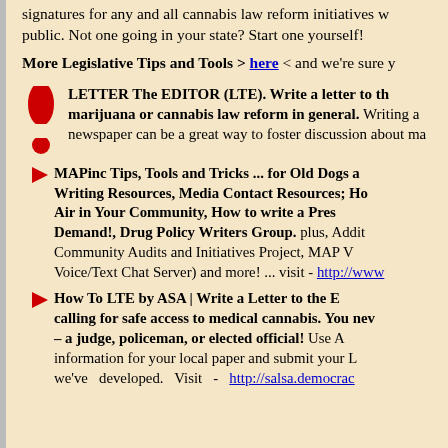signatures for any and all cannabis law reform initiatives w... public. Not one going in your state? Start one yourself!
More Legislative Tips and Tools > here < and we're sure y...
LETTER The EDITOR (LTE). Write a letter to th... marijuana or cannabis law reform in general. Writing a... newspaper can be a great way to foster discussion about ma...
MAPinc Tips, Tools and Tricks ... for Old Dogs ... Writing Resources, Media Contact Resources; Ho... Air in Your Community, How to write a Press... Demand!, Drug Policy Writers Group. plus, Addit... Community Audits and Initiatives Project, MAP V... Voice/Text Chat Server) and more! ... visit - http://www...
How To LTE by ASA | Write a Letter to the E... calling for safe access to medical cannabis. You ne... – a judge, policeman, or elected official! Use A... information for your local paper and submit your L... we've developed. Visit - http://salsa.democrac...